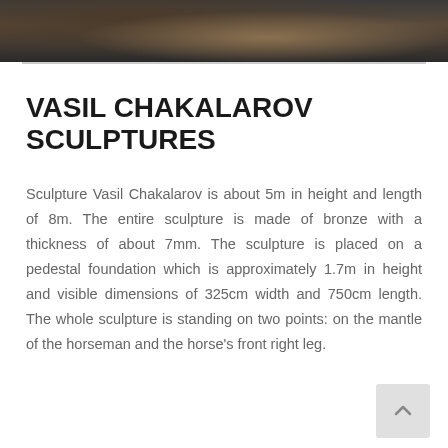[Figure (photo): Partial photo of a bronze sculpture (bird or eagle detail), dark background with warm highlights, cropped at top of page]
VASIL CHAKALAROV SCULPTURES
Sculpture Vasil Chakalarov is about 5m in height and length of 8m. The entire sculpture is made of bronze with a thickness of about 7mm. The sculpture is placed on a pedestal foundation which is approximately 1.7m in height and visible dimensions of 325cm width and 750cm length. The whole sculpture is standing on two points: on the mantle of the horseman and the horse's front right leg.